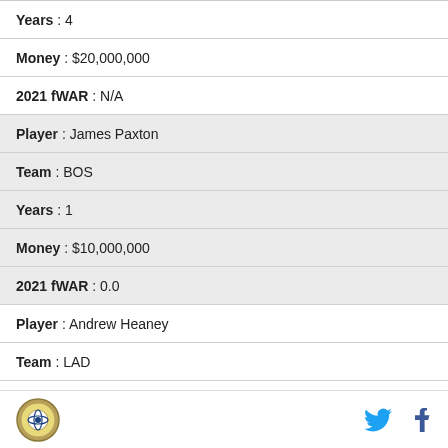| Years | 4 |
| Money | $20,000,000 |
| 2021 fWAR | N/A |
| Player | James Paxton |
| Team | BOS |
| Years | 1 |
| Money | $10,000,000 |
| 2021 fWAR | 0.0 |
| Player | Andrew Heaney |
| Team | LAD |
| Years | 1 |
Logo, Twitter, Facebook icons